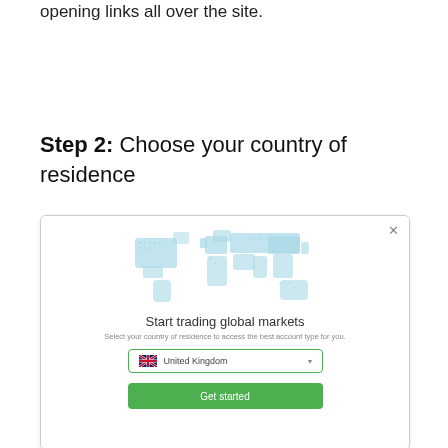opening links all over the site.
Step 2: Choose your country of residence
[Figure (screenshot): Modal dialog showing 'Start trading global markets' with a world map graphic, a country dropdown set to United Kingdom, and a green 'Get started' button.]